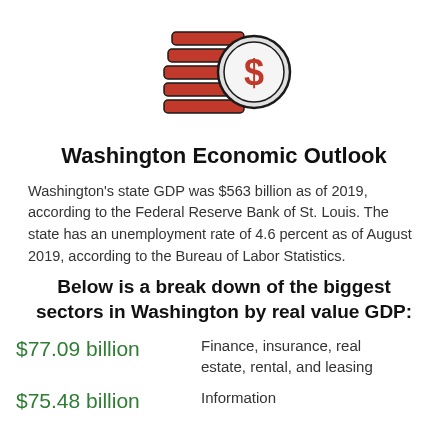[Figure (illustration): Red and gray icon of stacked coins with a dollar sign circle on the right side]
Washington Economic Outlook
Washington's state GDP was $563 billion as of 2019, according to the Federal Reserve Bank of St. Louis. The state has an unemployment rate of 4.6 percent as of August 2019, according to the Bureau of Labor Statistics.
Below is a break down of the biggest sectors in Washington by real value GDP:
$77.09 billion — Finance, insurance, real estate, rental, and leasing
$75.48 billion — Information